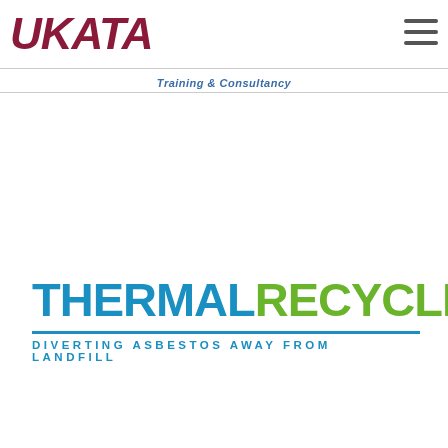[Figure (logo): UKATA logo in dark red/maroon bold italic text at top left of page header]
[Figure (logo): Hamburger menu icon (three horizontal lines) at top right of page header]
Training & Consultancy
[Figure (logo): Thermal Recycling logo: 'THERMAL' in blue bold text, 'RECYCLING' in green bold text, flame icon in blue/green, blue horizontal divider line, tagline 'DIVERTING ASBESTOS AWAY FROM LANDFILL' in blue spaced capitals]